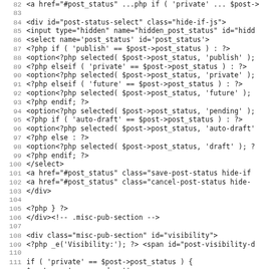Code listing lines 82-114, PHP/HTML source code
82  <a href="#post_status" ...php if ( 'private' ...  $post->
83
84  <div id="post-status-select" class="hide-if-js">
85  <input type="hidden" name="hidden_post_status" id="hidd
86  <select name='post_status' id='post_status'>
87  <?php if ( 'publish' == $post->post_status ) : ?>
88  <option<?php selected( $post->post_status, 'publish' );
89  <?php elseif ( 'private' == $post->post_status ) : ?>
90  <option<?php selected( $post->post_status, 'private' );
91  <?php elseif ( 'future' == $post->post_status ) : ?>
92  <option<?php selected( $post->post_status, 'future' );
93  <?php endif; ?>
94  <option<?php selected( $post->post_status, 'pending' );
95  <?php if ( 'auto-draft' == $post->post_status ) : ?>
96  <option<?php selected( $post->post_status, 'auto-draft'
97  <?php else : ?>
98  <option<?php selected( $post->post_status, 'draft' ); ?
99  <?php endif; ?>
100 </select>
101  <a href="#post_status" class="save-post-status hide-if
102  <a href="#post_status" class="cancel-post-status hide-
103 </div>
104
105 <?php } ?>
106 </div><!-- .misc-pub-section -->
107
108 <div class="misc-pub-section" id="visibility">
109 <?php _e('Visibility:'); ?> <span id="post-visibility-d
110
111 if ( 'private' == $post->post_status ) {
112      $post->post_password = '';
113      $visibility = 'private';
114      $visibility_trans =   ('Private');